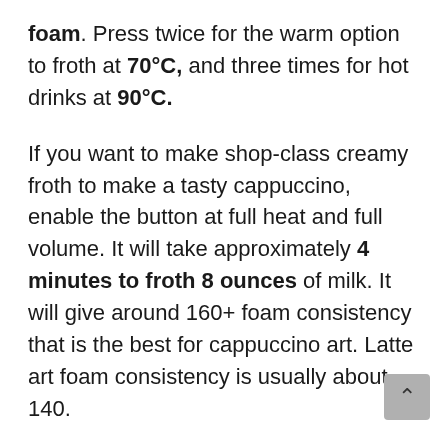foam. Press twice for the warm option to froth at 70°C, and three times for hot drinks at 90°C.
If you want to make shop-class creamy froth to make a tasty cappuccino, enable the button at full heat and full volume. It will take approximately 4 minutes to froth 8 ounces of milk. It will give around 160+ foam consistency that is the best for cappuccino art. Latte art foam consistency is usually about 140.